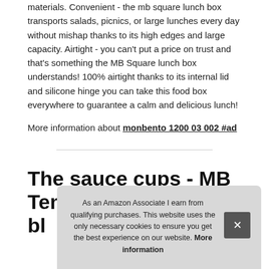materials. Convenient - the mb square lunch box transports salads, picnics, or large lunches every day without mishap thanks to its high edges and large capacity. Airtight - you can't put a price on trust and that's something the MB Square lunch box understands! 100% airtight thanks to its internal lid and silicone hinge you can take this food box everywhere to guarantee a calm and delicious lunch!
More information about monbento 1200 03 002 #ad
The sauce cups - MB Temple S bla
As an Amazon Associate I earn from qualifying purchases. This website uses the only necessary cookies to ensure you get the best experience on our website. More information